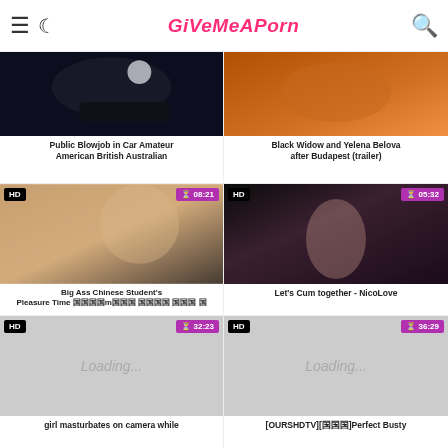GiVeMeAPorn
[Figure (screenshot): Video thumbnail dark/nighttime car scene]
Public Blowjob in Car Amateur American British Australian
[Figure (screenshot): Video thumbnail orange/warm tones]
Black Widow and Yelena Belova after Budapest (trailer)
[Figure (screenshot): HD video thumbnail flesh tones, badge HD, time 08:21]
Big Ass Chinese Student's Pleasure Time 国国国国m国国国 国国国国 国国国 国
[Figure (screenshot): HD video thumbnail dark tones, badge HD, time 05:32]
Let's Cum together - NicoLove
[Figure (screenshot): Loading placeholder HD video badge HD, time 32:23]
girl masturbates on camera while
[Figure (screenshot): Loading placeholder HD video badge HD, time 36:29]
[OURSHDTV][国国国]Perfect Busty